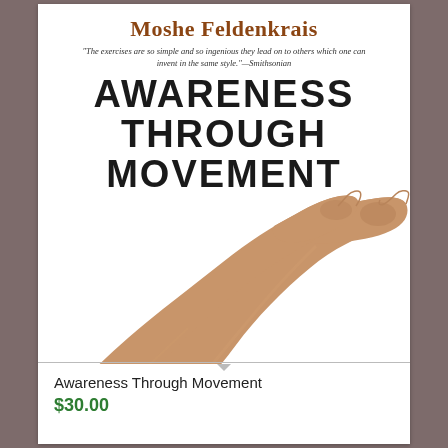Moshe Feldenkrais
"The exercises are so simple and so ingenious they lead on to others which one can invent in the same style."—Smithsonian
AWARENESS THROUGH MOVEMENT
[Figure (photo): Two legs raised in the air against a white background, photographed from below showing feet and lower legs]
EASY-TO-DO HEALTH EXERCISES TO IMPROVE YOUR POSTURE, VISION, IMAGINATION, AND PERSONAL AWARENESS
Awareness Through Movement
$30.00